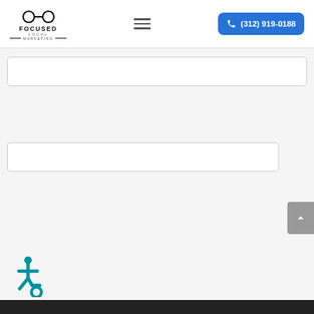[Figure (logo): Focused Local Marketing logo with glasses icon, company name text, and decorative lines]
[Figure (other): Hamburger menu icon (three horizontal lines)]
[Figure (other): Blue call button with phone icon and phone number (312) 919-0188]
[Figure (other): Empty white input/search box]
[Figure (other): Empty white input/search box]
[Figure (other): Gray back-to-top button with upward chevron arrow]
[Figure (other): Accessibility (wheelchair) icon in teal color]